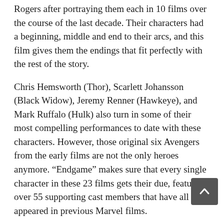Rogers after portraying them each in 10 films over the course of the last decade. Their characters had a beginning, middle and end to their arcs, and this film gives them the endings that fit perfectly with the rest of the story.
Chris Hemsworth (Thor), Scarlett Johansson (Black Widow), Jeremy Renner (Hawkeye), and Mark Ruffalo (Hulk) also turn in some of their most compelling performances to date with these characters. However, those original six Avengers from the early films are not the only heroes anymore. “Endgame” makes sure that every single character in these 23 films gets their due, featuring over 55 supporting cast members that have all appeared in previous Marvel films.
“Endgame” also has a score from renowned composer, Alan Silvestri, who returns after composing the music for “Captain America: The First Avenger,” “The Avengers,” and “Avengers: Infinity War.” Silvestri provides the epic